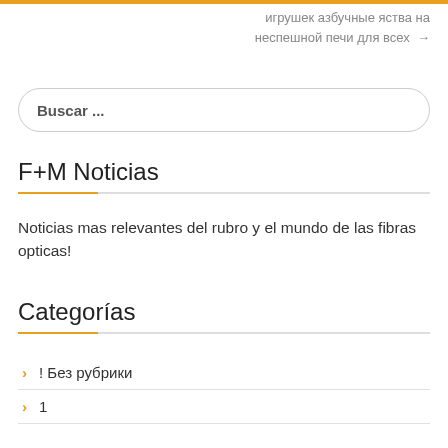игрушек азбучные яства на неспешной печи для всех →
Buscar ...
F+M Noticias
Noticias mas relevantes del rubro y el mundo de las fibras opticas!
Categorías
! Без рубрики
1